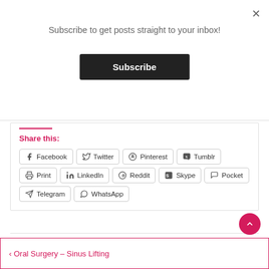Subscribe to get posts straight to your inbox!
Subscribe
Share this:
Facebook  Twitter  Pinterest  Tumblr  Print  LinkedIn  Reddit  Skype  Pocket  Telegram  WhatsApp
Kirsty Jennings  0
‹ Oral Surgery – Sinus Lifting